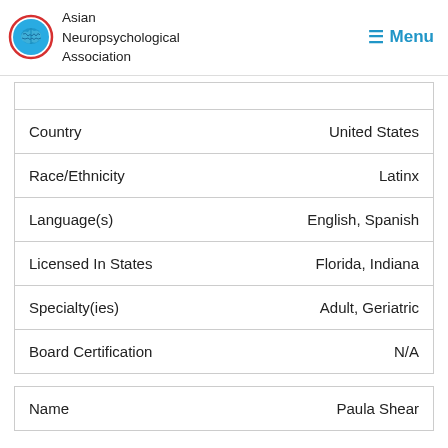Asian Neuropsychological Association | Menu
| Country | United States |
| Race/Ethnicity | Latinx |
| Language(s) | English, Spanish |
| Licensed In States | Florida, Indiana |
| Specialty(ies) | Adult, Geriatric |
| Board Certification | N/A |
| Name | Paula Shear |